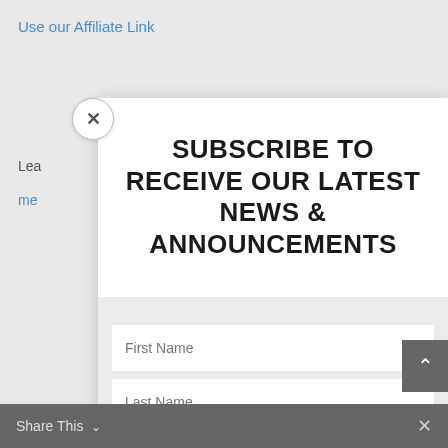Use our Affiliate Link
Lea
me
SUBSCRIBE TO RECEIVE OUR LATEST NEWS & ANNOUNCEMENTS
First Name
Last Name
Email
SUBSCRIBE!
Share This ∨  ×